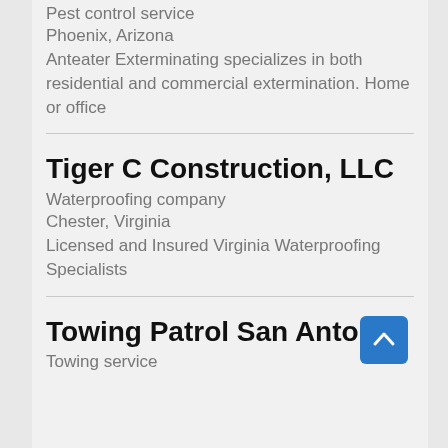Pest control service
Phoenix, Arizona
Anteater Exterminating specializes in both residential and commercial extermination. Home or office
Tiger C Construction, LLC
Waterproofing company
Chester, Virginia
Licensed and Insured Virginia Waterproofing Specialists
Towing Patrol San Antonio
Towing service